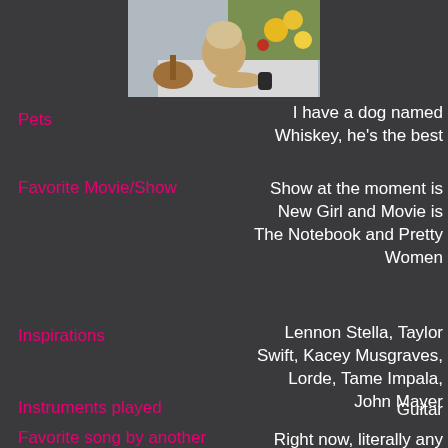[Figure (photo): Young woman sitting outdoors with guitar and sunflowers]
Pets
I have a dog named Whiskey, he's the best
Favorite Movie/Show
Show at the moment is New Girl and Movie is The Notebook and Pretty Women
Inspirations
Lennon Stella, Taylor Swift, Kacey Musgraves, Lorde, Tame Impala, John Mayer
Instruments played
Guitar
Favorite song by another
Right now, literally any